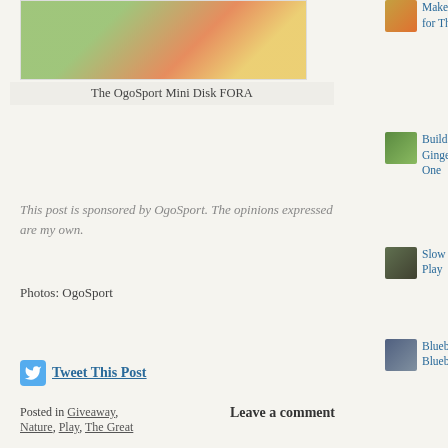[Figure (photo): Image of OgoSport Mini Disk FORA with green, orange and red colors]
The OgoSport Mini Disk FORA
This post is sponsored by OgoSport. The opinions expressed are my own.
Photos: OgoSport
Tweet This Post
Posted in Giveaway, Nature, Play, The Great
Leave a comment
Make A Beaded Corn Ear for Thanksgiving
Build Your Dream Gingerbread House Part One
Slow News: Let the Kids Play
Blueberry Thursday: Blueberry Corn Muffins
A Neighborhood Walk Turns into a Hike to the Muir Woods, Thanks to New Book